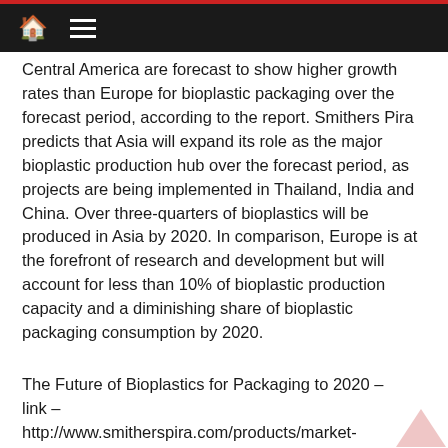🏠 ≡
Central America are forecast to show higher growth rates than Europe for bioplastic packaging over the forecast period, according to the report. Smithers Pira predicts that Asia will expand its role as the major bioplastic production hub over the forecast period, as projects are being implemented in Thailand, India and China. Over three-quarters of bioplastics will be produced in Asia by 2020. In comparison, Europe is at the forefront of research and development but will account for less than 10% of bioplastic production capacity and a diminishing share of bioplastic packaging consumption by 2020.
The Future of Bioplastics for Packaging to 2020 – link – http://www.smitherspira.com/products/market-